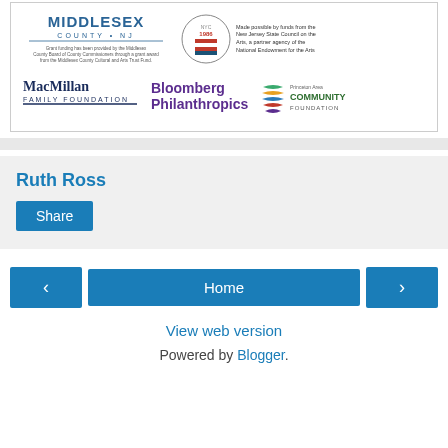[Figure (logo): Middlesex County NJ logo with grant funding text]
[Figure (logo): NJ 1966 Arts Council seal and text: Made possible by funds from the New Jersey State Council on the Arts, a partner agency of the National Endowment for the Arts]
[Figure (logo): MacMillan Family Foundation logo]
[Figure (logo): Bloomberg Philanthropics logo]
[Figure (logo): Princeton Area Community Foundation logo]
Ruth Ross
Share
Home
View web version
Powered by Blogger.